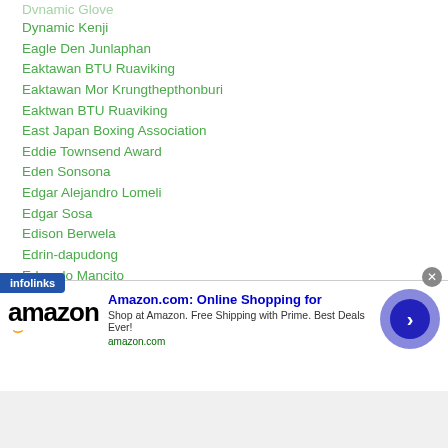Dvnamic Glove
Dynamic Kenji
Eagle Den Junlaphan
Eaktawan BTU Ruaviking
Eaktawan Mor Krungthepthonburi
Eaktwan BTU Ruaviking
East Japan Boxing Association
Eddie Townsend Award
Eden Sonsona
Edgar Alejandro Lomeli
Edgar Sosa
Edison Berwela
Edrin-dapudong
Eduardo Mancito
Eduard-troyanovsky
l Heno
[Figure (other): Amazon advertisement banner with infolinks badge, showing Amazon logo, title 'Amazon.com: Online Shopping for', description text, amazon.com URL, and a blue arrow button. Close button in top right.]